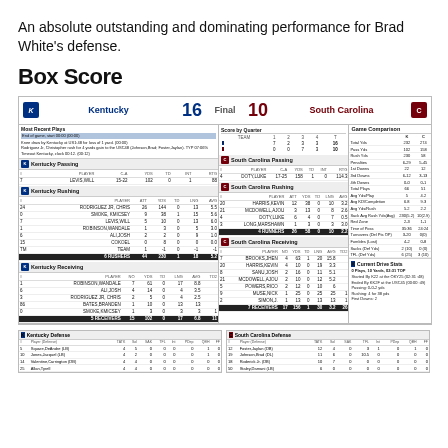An absolute outstanding and dominating performance for Brad White's defense.
Box Score
[Figure (other): Box score scoreboard showing Kentucky 16, South Carolina 10 Final, with passing, rushing, receiving stats for both teams, score by quarter, game comparison, and current drive stats.]
| # | Player | ATT | YDS | TD | LNG | AVG |
| --- | --- | --- | --- | --- | --- | --- |
| 24 | RODRIGUEZ JR, CHRIS | 26 | 144 | 0 | 13 | 5.5 |
| 0 | SMOKE, KMICSEY | 9 | 38 | 1 | 15 | 5.6 |
| 7 | LEVIS,WILL | 5 | 10 | 0 | 13 | 6.0 |
| 1 | ROBINSON,WANDALE | 1 | 3 | 0 | 5 | 3.0 |
| 6 | ALI,JOSH | 2 | 2 | 0 | 9 | 1.0 |
| 15 | COKOEL | 0 | 8 | 0 | 0 | 0.0 |
| TM | TEAM | 1 | -1 | 0 | -1 | -1 |
|  | 6 RUSHERS | 44 | 230 | 1 | 18 | 5.2 |
| # | Player | NO | YDS | TD | LNG | AVG | TD2 |
| --- | --- | --- | --- | --- | --- | --- | --- |
| 1 | ROBINSON,WANDALE | 7 | 61 | 0 | 17 | 8.8 |  |
| 6 | ALI,JOSH | 4 | 14 | 0 | 4 | 3.5 |  |
| 3 | RODRIGUEZ JR, CHRIS | 2 | 5 | 0 | 4 | 2.5 |  |
| 86 | BATES,BRANDEN | 1 | 10 | 0 | 13 | 13 |  |
| 0 | SMOKE,KMICSEY | 1 | 3 | 0 | 3 | 3 | 1 |
|  | 5 RECEIVERS | 15 | 102 | 0 | 17 | 6.8 | 11 |
| # | Player | ATT | YDS | TD | LNG | AVG |
| --- | --- | --- | --- | --- | --- | --- |
| 20 | HARRIS,KEVIN | 12 | 38 | 0 | 10 | 3.2 |
| 21 | MCDOWELL,AJOU | 3 | 13 | 0 | 8 | 2.6 |
| 4 | DOTY,LUKE | 6 | 4 | 0 | 7 | 0.5 |
| 3 | LONG,MARSHAWN | 1 | 3 | 0 | 3 | 3.0 |
|  | 4 RUNNERS | 26 | 58 | 0 | 10 | 2.2 |
| # | Player | NO | YDS | TD | LNG | AVG | TD2 |
| --- | --- | --- | --- | --- | --- | --- | --- |
| 7 | BROOKS,JHEN | 4 | 63 | 1 | 20 | 15.8 |  |
| 20 | HARRIS,KEVIN | 4 | 10 | 0 | 19 | 3.3 |  |
| 8 | SANU,JOSH | 2 | 16 | 0 | 11 | 5.1 |  |
| 21 | MCDOWELL,AJOU | 2 | 10 | 0 | 12 | 5.2 |  |
| 5 | POWERS,RICO | 2 | 12 | 0 | 10 | 6 |  |
| 9 | MUSE,NICK | 1 | 25 | 0 | 25 | 25 | 1 |
| 2 | SIMON,J. | 1 | 13 | 0 | 13 | 13 | 1 |
|  | 7 RECEIVERS | 17 | 156 | 1 | 30 | 3.2 | 26 |
| # | Player (Defense) | TATK | Sol | SAK | TFL | Int | PDep | QBH | FF |
| --- | --- | --- | --- | --- | --- | --- | --- | --- | --- |
| 5 | Square,DeAndre (LB) | 4 | 5 | 0 | 0 | 0 | 0 | 1 | 0 |
| 10 | Jones,Jacquel (LB) | 4 | 2 | 0 | 0 | 0 | 0 | 1 | 0 |
| 14 | Valentine,Carrington (DB) | 4 | 4 | 0 | 0 | 0 | 0 | 0 | 0 |
| 25 | Allan,Tyrell | 4 | 4 | 0 | 0 | 0 | 0 | 0 | 0 |
| # | Player (Defense) | TATK | Sol | SAK | TFL | Int | PDep | QBH | FF |
| --- | --- | --- | --- | --- | --- | --- | --- | --- | --- |
| 12 | Foster,Jaylan (DB) | 12 | 4 | 0 | 3 | 1 | 0 | 1 | 0 |
| 19 | Johnson,Brad (DL) | 11 | 6 | 0 | 10.5 | 0 | 0 | 0 | 0 |
| 18 | Roderick Jr. (DB) | 10 | 7 | 0 | 0 | 0 | 0 | 0 | 0 |
| 50 | Staley,Damani (LB) | 6 | 0 | 0 | 0 | 0 | 0 | 0 | 0 |